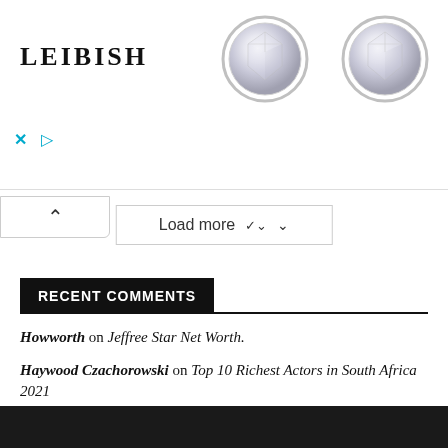[Figure (photo): Advertisement banner for LEIBISH with two round diamond stud earrings in bezel setting on white background, with close/play controls at bottom left]
[Figure (other): Scroll-up arrow button (^) in a white box at top left below ad]
Load more ∨
RECENT COMMENTS
Howworth on Jeffree Star Net Worth.
Haywood Czachorowski on Top 10 Richest Actors in South Africa 2021
Gopi patel on Kate Norley Age, Career, Nationality, Net Worth and Husband.